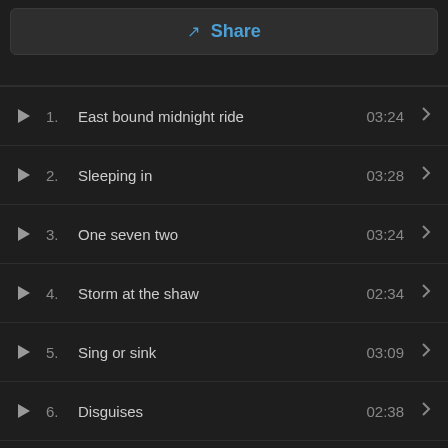[Figure (screenshot): Share button bar with blue share icon and label]
1. East bound midnight ride  03:24
2. Sleeping in  03:28
3. One seven two  03:24
4. Storm at the shaw  02:34
5. Sing or sink  03:09
6. Disguises  02:38
7. Comfort medicine  04:03
8. Escapes and exits  03:31
9. Murder of gods  02:50
10. (partially visible)